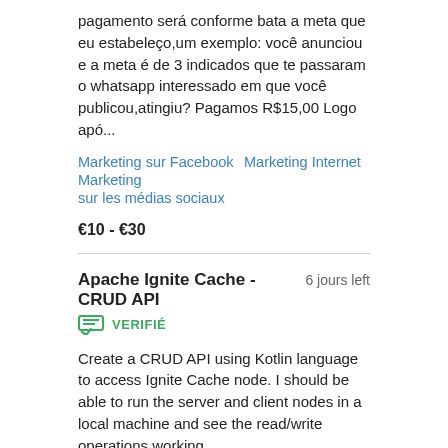pagamento será conforme bata a meta que eu estabeleço,um exemplo: você anunciou e a meta é de 3 indicados que te passaram o whatsapp interessado em que você publicou,atingiu? Pagamos R$15,00 Logo apó...
Marketing sur Facebook   Marketing Internet   Marketing sur les médias sociaux
€10 - €30
Apache Ignite Cache - CRUD API   6 jours left
VERIFIÉ
Create a CRUD API using Kotlin language to access Ignite Cache node. I should be able to run the server and client nodes in a local machine and see the read/write operations working.
Java   Kotlin
€25  (Avg Bid)